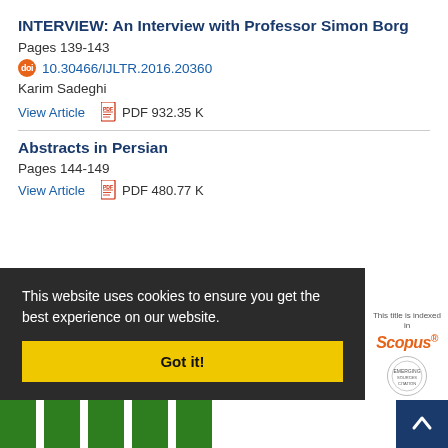INTERVIEW: An Interview with Professor Simon Borg
Pages 139-143
10.30466/IJLTR.2016.20360
Karim Sadeghi
View Article   PDF 932.35 K
Abstracts in Persian
Pages 144-149
View Article   PDF 480.77 K
This website uses cookies to ensure you get the best experience on our website.